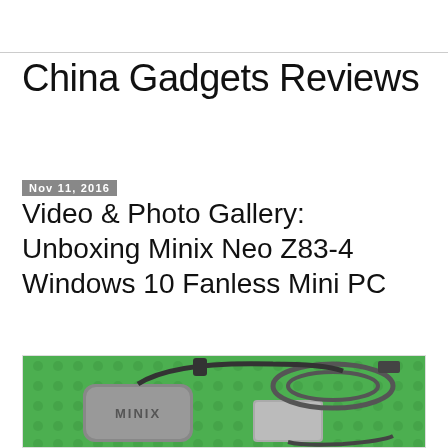China Gadgets Reviews
Nov 11, 2016
Video & Photo Gallery: Unboxing Minix Neo Z83-4 Windows 10 Fanless Mini PC
[Figure (photo): Photo of Minix Neo Z83-4 mini PC box unit with power adapter, HDMI cable, and power cord laid out on a green LEGO baseplate]